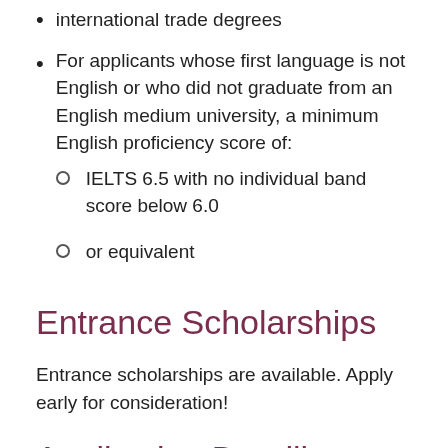For applicants whose first language is not English or who did not graduate from an English medium university, a minimum English proficiency score of:
IELTS 6.5 with no individual band score below 6.0
or equivalent
Entrance Scholarships
Entrance scholarships are available. Apply early for consideration!
Application Deadlines and Key Dates